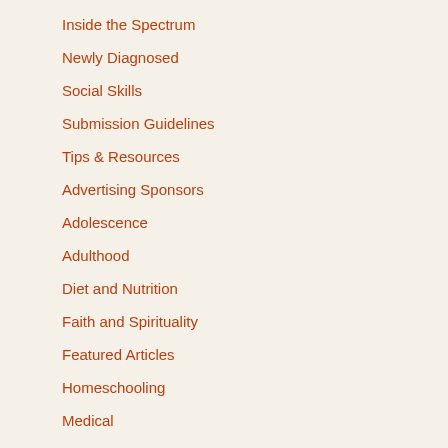Inside the Spectrum
Newly Diagnosed
Social Skills
Submission Guidelines
Tips & Resources
Advertising Sponsors
Adolescence
Adulthood
Diet and Nutrition
Faith and Spirituality
Featured Articles
Homeschooling
Medical
Parenting
Recreation